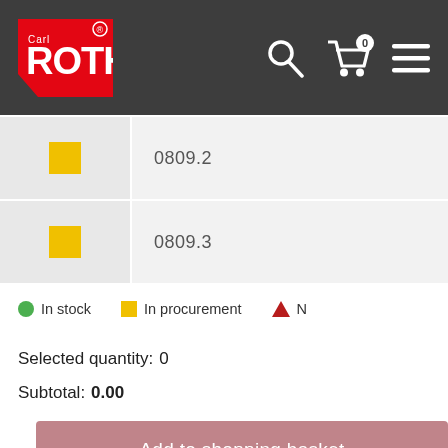[Figure (screenshot): Carl Roth website header with logo, search icon, cart icon (0 items), and menu icon on dark grey background]
| Status | Product Code |
| --- | --- |
| yellow square (In procurement) | 0809.2 |
| yellow square (In procurement) | 0809.3 |
In stock   In procurement   N...
Selected quantity: 0
Subtotal: 0.00
Add to shopping basket